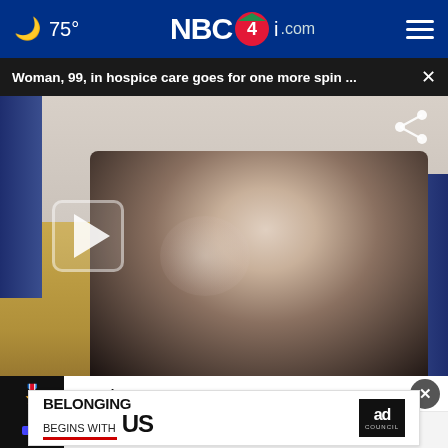🌙 75° NBC4i.com
Woman, 99, in hospice care goes for one more spin ...
[Figure (screenshot): Video thumbnail showing an elderly woman in a wheelchair wearing a black floral dress in a ballroom setting, with a play button overlay]
speech
Data: CPD uses more force against
[Figure (infographic): Ad banner reading BELONGING BEGINS WITH US with Ad Council logo]